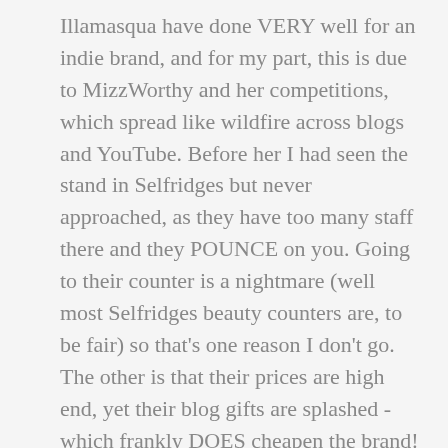Illamasqua have done VERY well for an indie brand, and for my part, this is due to MizzWorthy and her competitions, which spread like wildfire across blogs and YouTube. Before her I had seen the stand in Selfridges but never approached, as they have too many staff there and they POUNCE on you. Going to their counter is a nightmare (well most Selfridges beauty counters are, to be fair) so that's one reason I don't go. The other is that their prices are high end, yet their blog gifts are splashed - which frankly DOES cheapen the brand! I don't blame them if they now retrospectively want to set a premium (let's be honest, a National paper supplement would represent a prestige status symbol